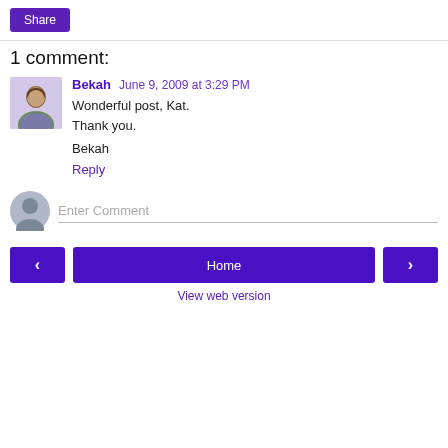Share
1 comment:
Bekah  June 9, 2009 at 3:29 PM
Wonderful post, Kat.
Thank you.

Bekah
Reply
Enter Comment
< | Home | > | View web version